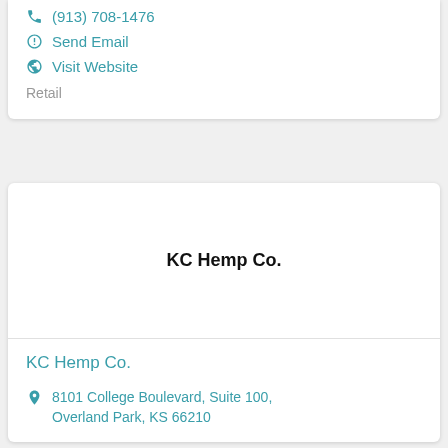(913) 708-1476
Send Email
Visit Website
Retail
KC Hemp Co.
KC Hemp Co.
8101 College Boulevard, Suite 100, Overland Park, KS 66210